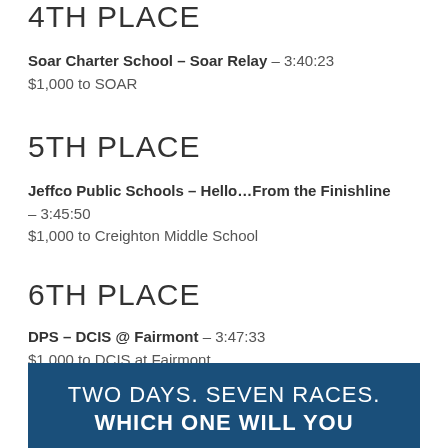4TH PLACE
Soar Charter School – Soar Relay – 3:40:23
$1,000 to SOAR
5TH PLACE
Jeffco Public Schools – Hello…From the Finishline – 3:45:50
$1,000 to Creighton Middle School
6TH PLACE
DPS – DCIS @ Fairmont – 3:47:33
$1,000 to DCIS at Fairmont
TWO DAYS. SEVEN RACES. WHICH ONE WILL YOU